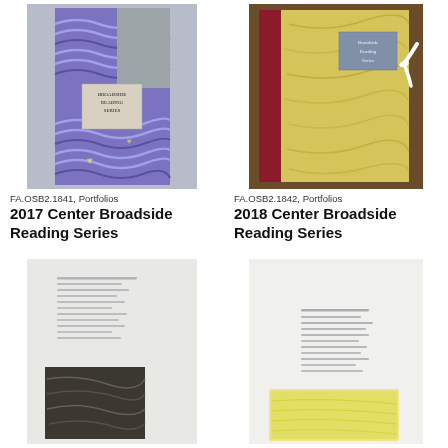[Figure (photo): Book portfolio with purple and blue marbled/wave pattern cover, titled Broadside Reading Series, on gray linen background]
FA.OSB2.1841, Portfolios
2017 Center Broadside Reading Series
[Figure (photo): Book portfolio with yellow/gold marbled cover, red spine, and white ribbon tie, titled Broadside Reading Series]
FA.OSB2.1842, Portfolios
2018 Center Broadside Reading Series
[Figure (photo): Open broadside portfolio page with small text lines and a dark photographic image at bottom]
[Figure (photo): Open broadside portfolio page with small text lines and yellow highlighted/brushed area at bottom]